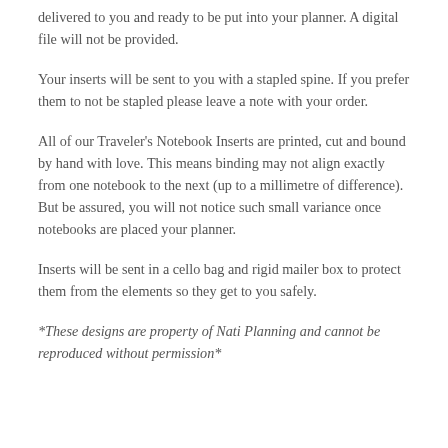delivered to you and ready to be put into your planner. A digital file will not be provided.
Your inserts will be sent to you with a stapled spine. If you prefer them to not be stapled please leave a note with your order.
All of our Traveler's Notebook Inserts are printed, cut and bound by hand with love. This means binding may not align exactly from one notebook to the next (up to a millimetre of difference). But be assured, you will not notice such small variance once notebooks are placed your planner.
Inserts will be sent in a cello bag and rigid mailer box to protect them from the elements so they get to you safely.
*These designs are property of Nati Planning and cannot be reproduced without permission*